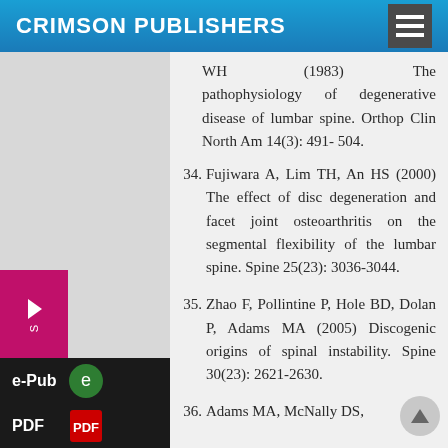CRIMSON PUBLISHERS
WH (1983) The pathophysiology of degenerative disease of lumbar spine. Orthop Clin North Am 14(3): 491- 504.
34. Fujiwara A, Lim TH, An HS (2000) The effect of disc degeneration and facet joint osteoarthritis on the segmental flexibility of the lumbar spine. Spine 25(23): 3036-3044.
35. Zhao F, Pollintine P, Hole BD, Dolan P, Adams MA (2005) Discogenic origins of spinal instability. Spine 30(23): 2621-2630.
36. Adams MA, McNally DS, Dolan P (1996) ...Stress ...